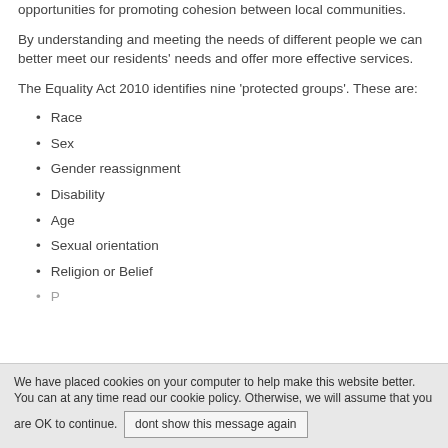opportunities for promoting cohesion between local communities.
By understanding and meeting the needs of different people we can better meet our residents' needs and offer more effective services.
The Equality Act 2010 identifies nine 'protected groups'. These are:
Race
Sex
Gender reassignment
Disability
Age
Sexual orientation
Religion or Belief
Pregnancy and maternity
We have placed cookies on your computer to help make this website better. You can at any time read our cookie policy. Otherwise, we will assume that you are OK to continue. dont show this message again